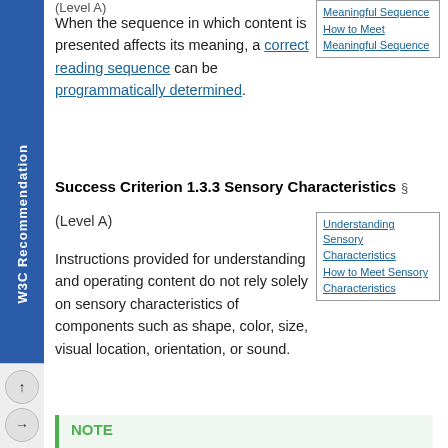(Level A)
When the sequence in which content is presented affects its meaning, a correct reading sequence can be programmatically determined.
| Meaningful Sequence |
| How to Meet Meaningful Sequence |
Success Criterion 1.3.3 Sensory Characteristics §
(Level A)
| Understanding Sensory Characteristics |
| How to Meet Sensory Characteristics |
Instructions provided for understanding and operating content do not rely solely on sensory characteristics of components such as shape, color, size, visual location, orientation, or sound.
NOTE